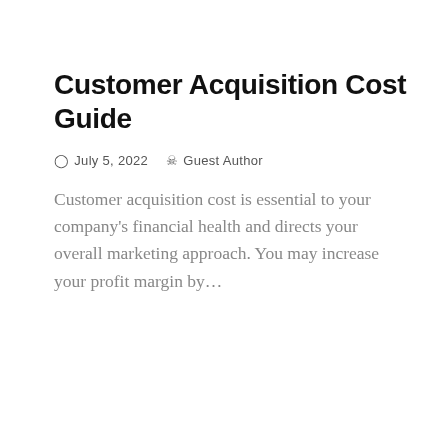Customer Acquisition Cost Guide
⊙ July 5, 2022   ♟ Guest Author
Customer acquisition cost is essential to your company's financial health and directs your overall marketing approach. You may increase your profit margin by…